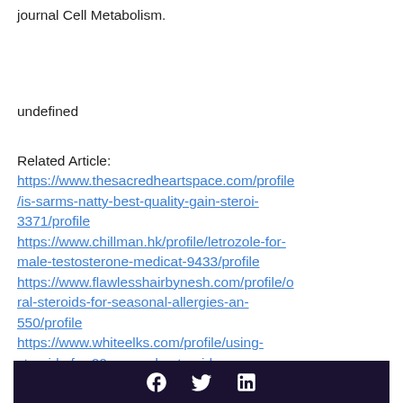journal Cell Metabolism.
undefined
Related Article:
https://www.thesacredheartspace.com/profile/is-sarms-natty-best-quality-gain-steroi-3371/profile
https://www.chillman.hk/profile/letrozole-for-male-testosterone-medicat-9433/profile
https://www.flawlesshairbynesh.com/profile/oral-steroids-for-seasonal-allergies-an-550/profile
https://www.whiteelks.com/profile/using-steroids-for-20-years-do-steroids-4522/profile
[Figure (other): Dark footer bar with social media icons (Facebook, Twitter, LinkedIn) in white on a dark purple/navy background.]